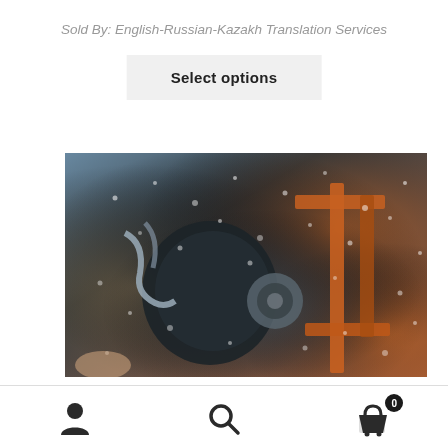Sold By: English-Russian-Kazakh Translation Services
Select options
[Figure (photo): Close-up photo of mechanical tools or bike parts covered in water droplets/foam, with orange and dark tones, blurred background]
User icon | Search icon | Cart icon with badge 0